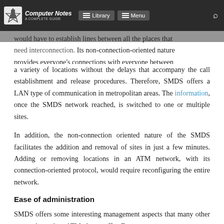Computer Notes – A Complete Guide | Library | Menu
would have to establish lines between all the places that need interconnection. Its non-connection-oriented nature provides everyone's connections with everyone between a variety of locations without the delays that accompany the call establishment and release procedures. Therefore, SMDS offers a LAN type of communication in metropolitan areas. The information, once the SMDS network reached, is switched to one or multiple sites.
In addition, the non-connection oriented nature of the SMDS facilitates the addition and removal of sites in just a few minutes. Adding or removing locations in an ATM network, with its connection-oriented protocol, would require reconfiguring the entire network.
Ease of administration
SMDS offers some interesting management aspects that many other protocols, such as ATM, do not offer. For